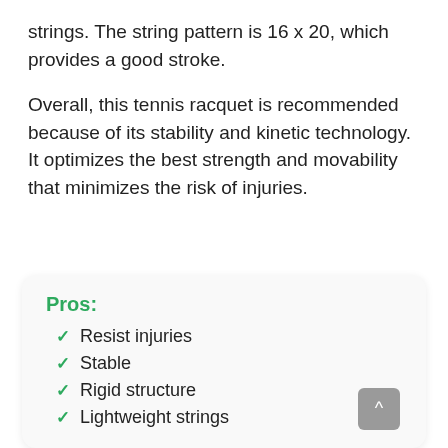strings. The string pattern is 16 x 20, which provides a good stroke.
Overall, this tennis racquet is recommended because of its stability and kinetic technology. It optimizes the best strength and movability that minimizes the risk of injuries.
Pros:
Resist injuries
Stable
Rigid structure
Lightweight strings